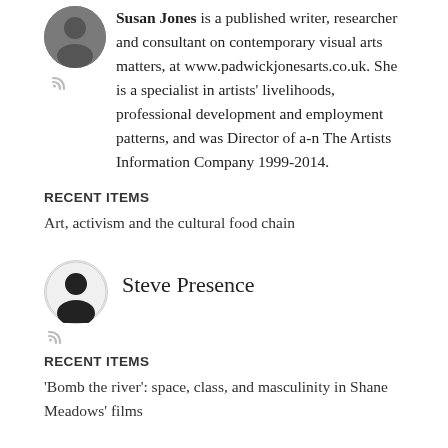[Figure (photo): Circular avatar photo of Susan Jones, partially cropped at top, with RSS icon below]
Susan Jones is a published writer, researcher and consultant on contemporary visual arts matters, at www.padwickjonesarts.co.uk. She is a specialist in artists' livelihoods, professional development and employment patterns, and was Director of a-n The Artists Information Company 1999-2014.
RECENT ITEMS
Art, activism and the cultural food chain
[Figure (illustration): Circular placeholder avatar (silhouette icon) for Steve Presence with RSS icon below]
Steve Presence
RECENT ITEMS
'Bomb the river': space, class, and masculinity in Shane Meadows' films
[Figure (photo): Circular avatar photo of Mike Templeton, partially cropped at bottom]
Mike Templeton